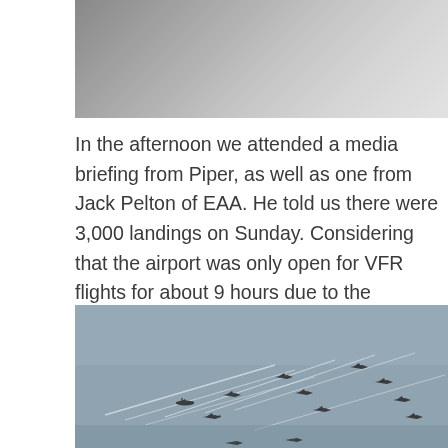[Figure (photo): Top portion of a photo showing interior or mechanical scene, partially cropped]
In the afternoon we attended a media briefing from Piper, as well as one from Jack Pelton of EAA. He told us there were 3,000 landings on Sunday. Considering that the airport was only open for VFR flights for about 9 hours due to the morning rain, that’s a pretty crazy number. The rest of the afternoon was spent exploring around Boeing Plaza and watching the airshow.
[Figure (photo): Multiple aircraft flying in formation against a grey sky, with vapor trails visible]